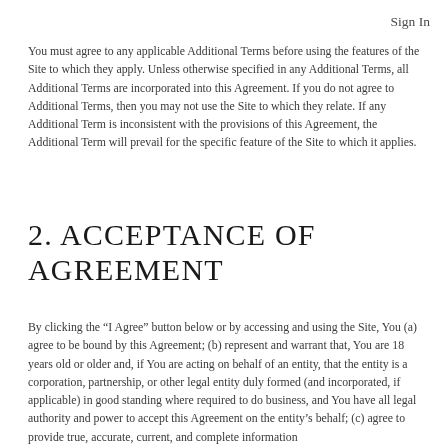Sign In
You must agree to any applicable Additional Terms before using the features of the Site to which they apply. Unless otherwise specified in any Additional Terms, all Additional Terms are incorporated into this Agreement. If you do not agree to Additional Terms, then you may not use the Site to which they relate. If any Additional Term is inconsistent with the provisions of this Agreement, the Additional Term will prevail for the specific feature of the Site to which it applies.
2. ACCEPTANCE OF AGREEMENT
By clicking the “I Agree” button below or by accessing and using the Site, You (a) agree to be bound by this Agreement; (b) represent and warrant that, You are 18 years old or older and, if You are acting on behalf of an entity, that the entity is a corporation, partnership, or other legal entity duly formed (and incorporated, if applicable) in good standing where required to do business, and You have all legal authority and power to accept this Agreement on the entity’s behalf; (c) agree to provide true, accurate, current, and complete information